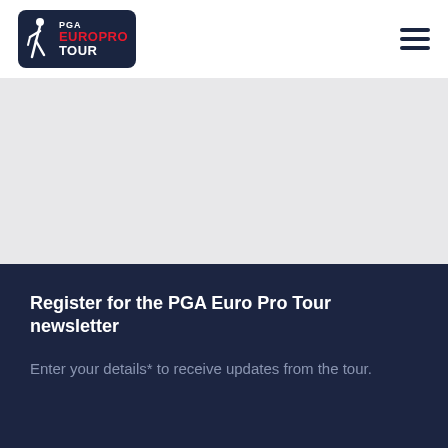[Figure (logo): PGA EuroPro Tour logo — dark navy rounded rectangle with a golfer silhouette and text 'PGA EUROPRO TOUR' in white and red]
[Figure (other): Hamburger menu icon — three horizontal dark navy lines]
[Figure (other): Light grey hero/banner area (empty content placeholder)]
Register for the PGA Euro Pro Tour newsletter
Enter your details* to receive updates from the tour.